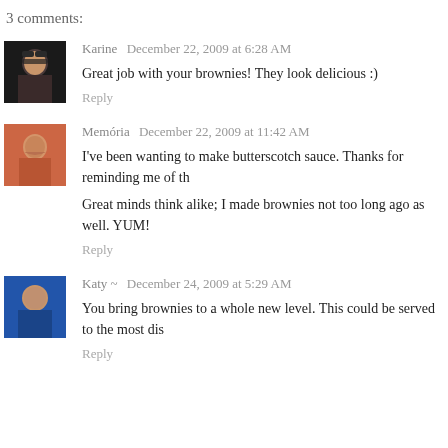3 comments:
Karine  December 22, 2009 at 6:28 AM
Great job with your brownies! They look delicious :)
Reply
Memória  December 22, 2009 at 11:42 AM
I've been wanting to make butterscotch sauce. Thanks for reminding me of th
Great minds think alike; I made brownies not too long ago as well. YUM!
Reply
Katy ~  December 24, 2009 at 5:29 AM
You bring brownies to a whole new level. This could be served to the most dis
Reply